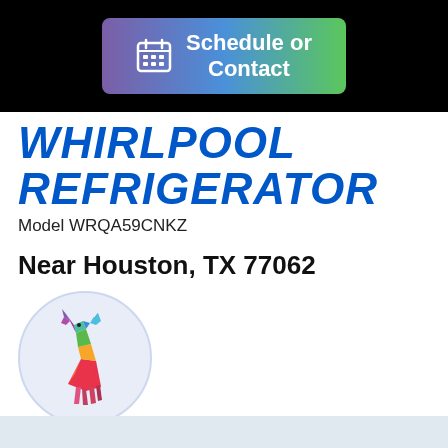[Figure (other): Schedule or Contact button with calendar icon, purple-to-green gradient background on black bar]
WHIRLPOOL REFRIGERATOR
Model WRQA59CNKZ
Near Houston, TX 77062
[Figure (logo): Colorful low-poly geometric deer/stag logo in a circle]
alfredo